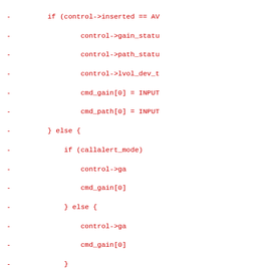Code diff showing removed lines (red, marked with -) and added lines (green, marked with +) in a C-style source file. Lines include control flow and assignments related to audio control structures.